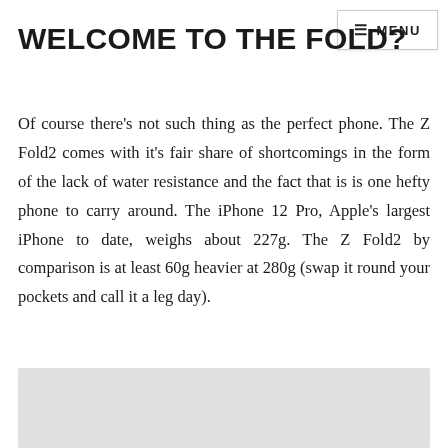≡ MENU
WELCOME TO THE FOLD?
Of course there's not such thing as the perfect phone. The Z Fold2 comes with it's fair share of shortcomings in the form of the lack of water resistance and the fact that is is one hefty phone to carry around. The iPhone 12 Pro, Apple's largest iPhone to date, weighs about 227g. The Z Fold2 by comparison is at least 60g heavier at 280g (swap it round your pockets and call it a leg day).
[Figure (photo): Light gray image placeholder at the bottom of the page]